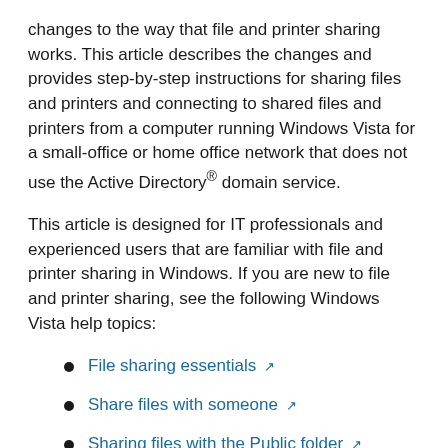changes to the way that file and printer sharing works. This article describes the changes and provides step-by-step instructions for sharing files and printers and connecting to shared files and printers from a computer running Windows Vista for a small-office or home office network that does not use the Active Directory® domain service.
This article is designed for IT professionals and experienced users that are familiar with file and printer sharing in Windows. If you are new to file and printer sharing, see the following Windows Vista help topics:
File sharing essentials ↗
Share files with someone ↗
Sharing files with the Public folder ↗
Share a printer ↗